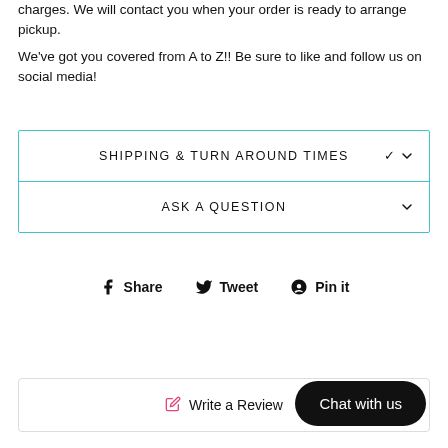charges. We will contact you when your order is ready to arrange pickup.

We've got you covered from A to Z!! Be sure to like and follow us on social media!
SHIPPING & TURN AROUND TIMES
ASK A QUESTION
Share   Tweet   Pin it
Write a Review
Chat with us